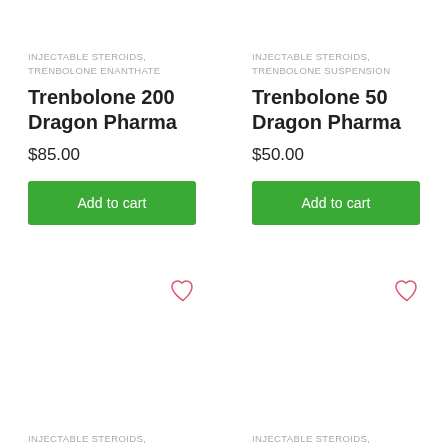INJECTABLE STEROIDS, TRENBOLONE ENANTHATE
Trenbolone 200 Dragon Pharma
$85.00
Add to cart
INJECTABLE STEROIDS, TRENBOLONE SUSPENSION
Trenbolone 50 Dragon Pharma
$50.00
Add to cart
INJECTABLE STEROIDS,
INJECTABLE STEROIDS,